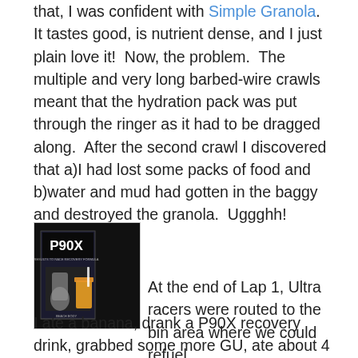that, I was confident with Simple Granola.  It tastes good, is nutrient dense, and I just plain love it!  Now, the problem.  The multiple and very long barbed-wire crawls meant that the hydration pack was put through the ringer as it had to be dragged along.  After the second crawl I discovered that a)I had lost some packs of food and b)water and mud had gotten in the baggy and destroyed the granola.  Uggghh!
[Figure (photo): P90X Results and Recovery Formula product box with a glass of orange/yellow drink beside it, dark background.]
At the end of Lap 1, Ultra racers were routed to the bin area where we could refuel.  I ate a banana, drank a P90X recovery drink, grabbed some more GU, ate about 4 Simple Granola balls, and stuffed